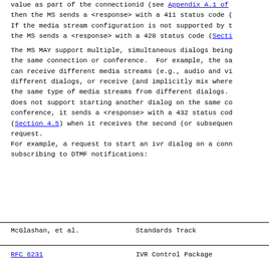value as part of the connectionid (see Appendix A.1 of then the MS sends a <response> with a 411 status code ( If the media stream configuration is not supported by t the MS sends a <response> with a 428 status code (Secti
The MS MAY support multiple, simultaneous dialogs being the same connection or conference.  For example, the sa can receive different media streams (e.g., audio and vi different dialogs, or receive (and implicitly mix where the same type of media streams from different dialogs. does not support starting another dialog on the same co conference, it sends a <response> with a 432 status cod (Section 4.5) when it receives the second (or subsequen request.
For example, a request to start an ivr dialog on a conn subscribing to DTMF notifications:
McGlashan, et al.              Standards Track
RFC 6231                       IVR Control Package